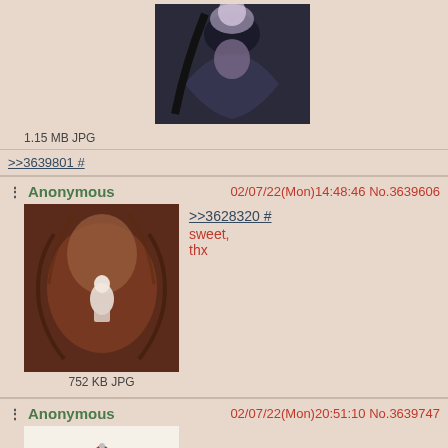[Figure (photo): Partial post showing a dark fantasy illustration of a woman with long dark hair, file size label below]
1.15 MB JPG
>>3639801 #
Anonymous  02/07/22(Mon)14:48:46 No.3639606
[Figure (photo): Painting of a figure with large fur or feathered form, reddish brown tones, a small white figure inside]
752 KB JPG
>>3628320 #
sweet,
thx
Anonymous  02/07/22(Mon)20:51:10 No.3639747
[Figure (illustration): Anime-style illustration of a female character in traditional costume sitting under a red parasol]
1023 KB JPG